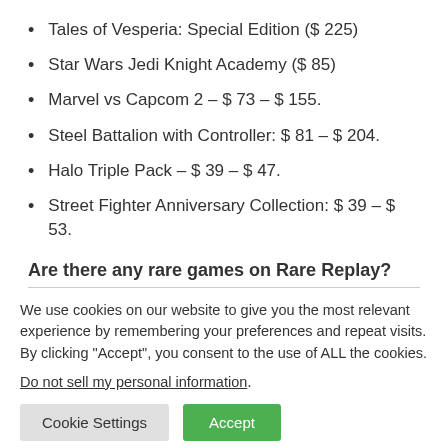Tales of Vesperia: Special Edition ($ 225)
Star Wars Jedi Knight Academy ($ 85)
Marvel vs Capcom 2 – $ 73 – $ 155.
Steel Battalion with Controller: $ 81 – $ 204.
Halo Triple Pack – $ 39 – $ 47.
Street Fighter Anniversary Collection: $ 39 – $ 53.
Are there any rare games on Rare Replay?
We use cookies on our website to give you the most relevant experience by remembering your preferences and repeat visits. By clicking “Accept”, you consent to the use of ALL the cookies.
Do not sell my personal information.